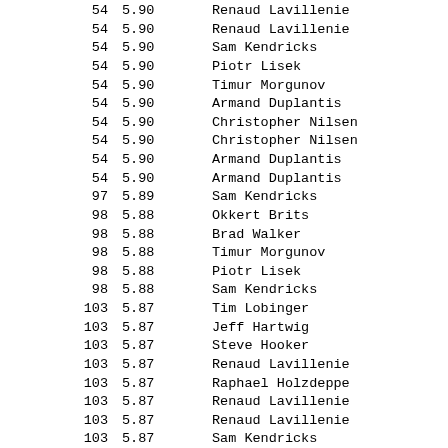| Rank | Mark | Athlete |
| --- | --- | --- |
| 54 | 5.90 | Renaud Lavillenie |
| 54 | 5.90 | Renaud Lavillenie |
| 54 | 5.90 | Sam Kendricks |
| 54 | 5.90 | Piotr Lisek |
| 54 | 5.90 | Timur Morgunov |
| 54 | 5.90 | Armand Duplantis |
| 54 | 5.90 | Christopher Nilsen |
| 54 | 5.90 | Christopher Nilsen |
| 54 | 5.90 | Armand Duplantis |
| 54 | 5.90 | Armand Duplantis |
| 97 | 5.89 | Sam Kendricks |
| 98 | 5.88 | Okkert Brits |
| 98 | 5.88 | Brad Walker |
| 98 | 5.88 | Timur Morgunov |
| 98 | 5.88 | Piotr Lisek |
| 98 | 5.88 | Sam Kendricks |
| 103 | 5.87 | Tim Lobinger |
| 103 | 5.87 | Jeff Hartwig |
| 103 | 5.87 | Steve Hooker |
| 103 | 5.87 | Renaud Lavillenie |
| 103 | 5.87 | Raphael Holzdeppe |
| 103 | 5.87 | Renaud Lavillenie |
| 103 | 5.87 | Renaud Lavillenie |
| 103 | 5.87 | Sam Kendricks |
| 103 | 5.87 | Pawel Wojciechowski |
| 103 | 5.87 | Armand Duplantis |
| 103 | 5.87 | Piotr Lisek |
| 103 | 5.87 | Armand Duplantis |
| 103 | 5.87 | Sam Kendricks |
| 103 | 5.87 | Armand Duplantis |
| 103 | 5.87 | Sam Kendricks |